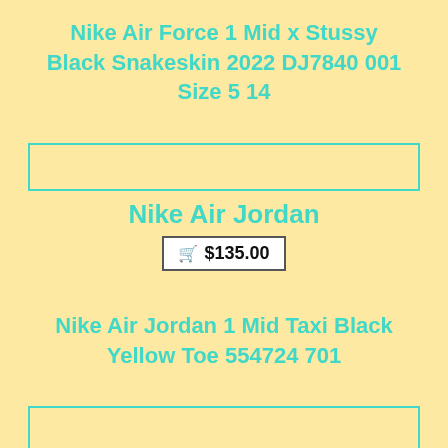Nike Air Force 1 Mid x Stussy Black Snakeskin 2022 DJ7840 001 Size 5 14
[Figure (other): Empty image placeholder box with teal border for Nike Air Jordan product]
Nike Air Jordan
🛒 $135.00
Nike Air Jordan 1 Mid Taxi Black Yellow Toe 554724 701
[Figure (other): Empty image placeholder box with teal border for Nike Air Force product]
Nike Air Force
🛒 $110.37